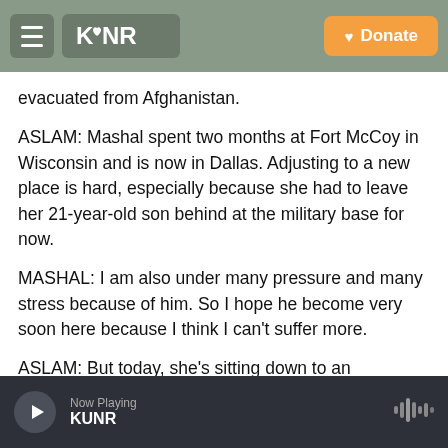KUNR — Donate
evacuated from Afghanistan.
ASLAM: Mashal spent two months at Fort McCoy in Wisconsin and is now in Dallas. Adjusting to a new place is hard, especially because she had to leave her 21-year-old son behind at the military base for now.
MASHAL: I am also under many pressure and many stress because of him. So I hope he become very soon here because I think I can't suffer more.
ASLAM: But today, she's sitting down to an
Now Playing KUNR